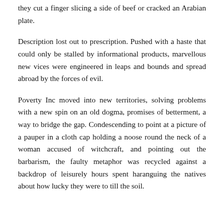they cut a finger slicing a side of beef or cracked an Arabian plate.
Description lost out to prescription. Pushed with a haste that could only be stalled by informational products, marvellous new vices were engineered in leaps and bounds and spread abroad by the forces of evil.
Poverty Inc moved into new territories, solving problems with a new spin on an old dogma, promises of betterment, a way to bridge the gap. Condescending to point at a picture of a pauper in a cloth cap holding a noose round the neck of a woman accused of witchcraft, and pointing out the barbarism, the faulty metaphor was recycled against a backdrop of leisurely hours spent haranguing the natives about how lucky they were to till the soil.